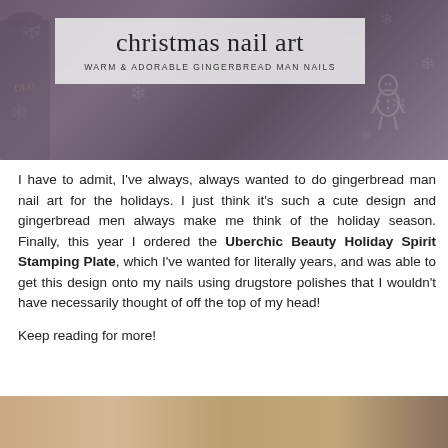[Figure (photo): Christmas nail art blog header image showing manicured nails with a gingerbread man stamping design on dark purple/mauve nail polish, with a semi-transparent box overlay containing the title 'christmas nail art' in cursive and subtitle 'WARM & ADORABLE GINGERBREAD MAN NAILS'. Background has snowflake patterns.]
I have to admit, I've always, always wanted to do gingerbread man nail art for the holidays. I just think it's such a cute design and gingerbread men always make me think of the holiday season. Finally, this year I ordered the Uberchic Beauty Holiday Spirit Stamping Plate, which I've wanted for literally years, and was able to get this design onto my nails using drugstore polishes that I wouldn't have necessarily thought of off the top of my head!
Keep reading for more!
[Figure (photo): Partial photo at bottom showing nails with nail art, cropped.]